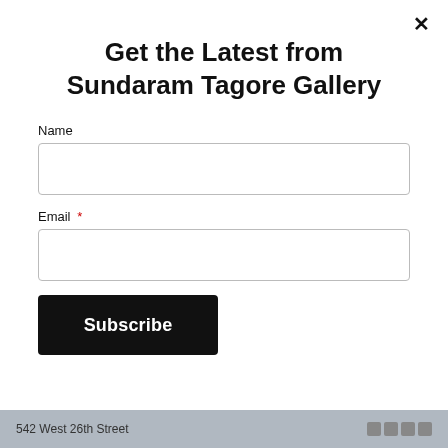Get the Latest from Sundaram Tagore Gallery
Name
Email *
Subscribe
542 West 26th Street